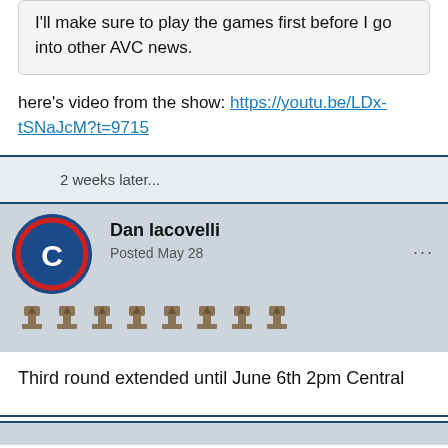I'll make sure to play the games first before I go into other AVC news.
here's video from the show: https://youtu.be/LDx-tSNaJcM?t=9715
2 weeks later...
Dan Iacovelli
Posted May 28
Third round extended until June 6th 2pm Central